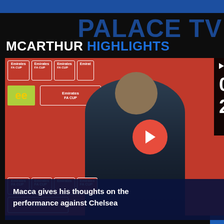PALACE TV
MCARTHUR HIGHLIGHTS
[Figure (screenshot): Video thumbnail showing a man (McArthur) in a blue jacket being interviewed in front of an Emirates FA Cup branded backdrop. Red play button overlaid in center. Scoreboard overlay in upper right shows Crystal Palace 0 - Chelsea 2 with timestamp 01:30.]
Macca gives his thoughts on the performance against Chelsea